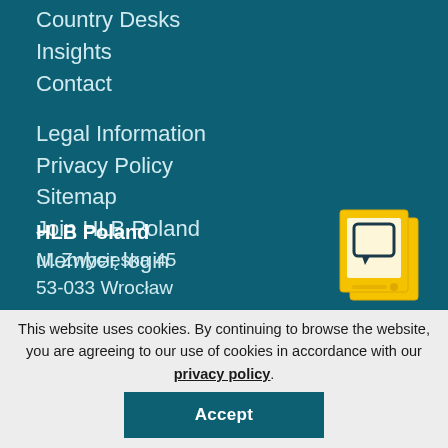Country Desks
Insights
Contact
Legal Information
Privacy Policy
Sitemap
Join HLB Poland
Member login
[Figure (illustration): Yellow icon of stacked documents/devices with a speech bubble, on teal background]
HLB Poland
ul. Zwycięska 45
53-033 Wrocław
This website uses cookies. By continuing to browse the website, you are agreeing to our use of cookies in accordance with our privacy policy.
Accept